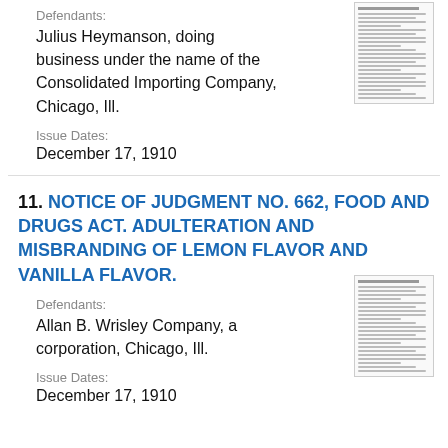Defendants:
Julius Heymanson, doing business under the name of the Consolidated Importing Company, Chicago, Ill.
Issue Dates:
December 17, 1910
[Figure (other): Thumbnail image of a legal document page]
11. NOTICE OF JUDGMENT NO. 662, FOOD AND DRUGS ACT. ADULTERATION AND MISBRANDING OF LEMON FLAVOR AND VANILLA FLAVOR.
Defendants:
Allan B. Wrisley Company, a corporation, Chicago, Ill.
Issue Dates:
December 17, 1910
[Figure (other): Thumbnail image of a legal document page]